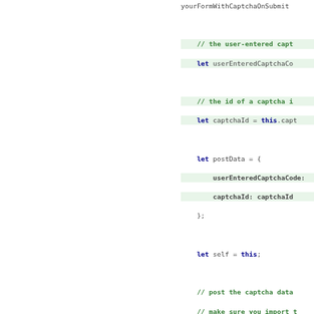[Figure (screenshot): Code snippet showing JavaScript function with captcha validation logic using axios.post, including highlighted comment lines and variable declarations for userEnteredCaptchaCode, captchaId, postData, and axios HTTP request with .then() callback.]